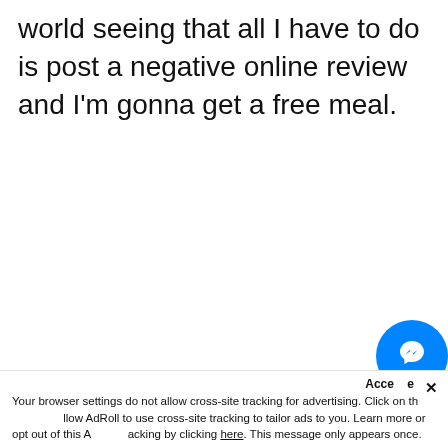world seeing that all I have to do is post a negative online review and I'm gonna get a free meal.
[Figure (other): Blue circular Facebook Messenger chat button icon in the bottom right area of the page]
Acce  × Your browser settings do not allow cross-site tracking for advertising. Click on th  llow AdRoll to use cross-site tracking to tailor ads to you. Learn more or opt out of this A  acking by clicking here. This message only appears once.